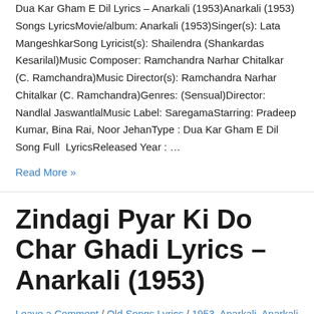Dua Kar Gham E Dil Lyrics – Anarkali (1953)Anarkali (1953) Songs LyricsMovie/album: Anarkali (1953)Singer(s): Lata MangeshkarSong Lyricist(s): Shailendra (Shankardas Kesarilal)Music Composer: Ramchandra Narhar Chitalkar (C. Ramchandra)Music Director(s): Ramchandra Narhar Chitalkar (C. Ramchandra)Genres: (Sensual)Director: Nandlal JaswantlalMusic Label: SaregamaStarring: Pradeep Kumar, Bina Rai, Noor JehanType : Dua Kar Gham E Dil Song Full  LyricsReleased Year : …
Read More »
Zindagi Pyar Ki Do Char Ghadi Lyrics – Anarkali (1953)
Leave a Comment / Old Songs Lyrics / 1953, Anarkali, Anarkali (1953), Beena Roy, Bina Rai, C. Ramchandra, Kuldip Kaur, Lata Mangeshkar, Manmohan Krishan, Mubarak, Nandlal Jaswantlal,